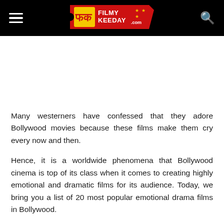Filmy Keeday
Many westerners have confessed that they adore Bollywood movies because these films make them cry every now and then.
Hence, it is a worldwide phenomena that Bollywood cinema is top of its class when it comes to creating highly emotional and dramatic films for its audience. Today, we bring you a list of 20 most popular emotional drama films in Bollywood.